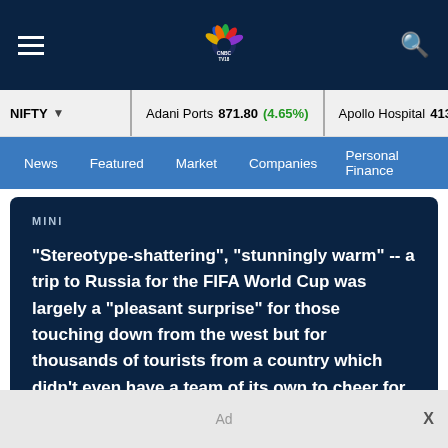CNBC TV18 — Navigation header with hamburger menu, CNBC TV18 logo, and search icon
NIFTY ▾   Adani Ports 871.80 (4.65%)   Apollo Hospital 4135.35 (-3.…)
News   Featured   Market   Companies   Personal Finance
MINI
"Stereotype-shattering", "stunningly warm" -- a trip to Russia for the FIFA World Cup was largely a "pleasant surprise" for those touching down from the west but for thousands of tourists from a country which didn't even have a team of its own to cheer for, it was "usual warmth".
Ad